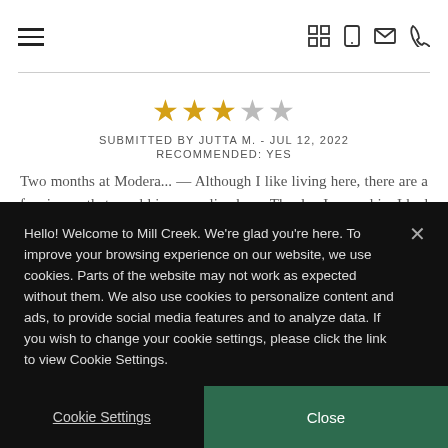Navigation header with hamburger menu and icons
[Figure (other): Star rating: 3 out of 5 stars (3 gold, 2 gray)]
SUBMITTED BY JUTTA M. - JUL 12, 2022
RECOMMENDED: YES
Two months at Modera... — Although I like living here, there are a few issues that would improve live here. The day I moved in, I had an appointment with an employee who did not show up, nor did anyone else for two hours, when another employee showed up, I
Hello! Welcome to Mill Creek. We're glad you're here. To improve your browsing experience on our website, we use cookies. Parts of the website may not work as expected without them. We also use cookies to personalize content and ads, to provide social media features and to analyze data. If you wish to change your cookie settings, please click the link to view Cookie Settings.
Cookie Settings
Close